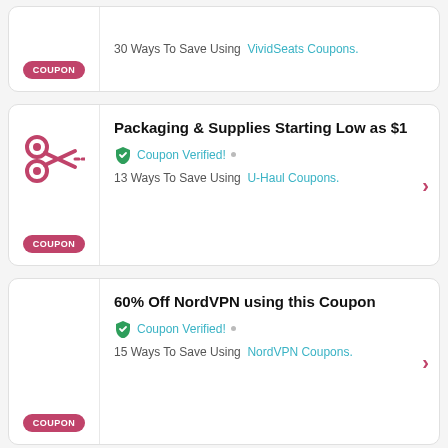30 Ways To Save Using VividSeats Coupons.
Packaging & Supplies Starting Low as $1
Coupon Verified! • 13 Ways To Save Using U-Haul Coupons.
60% Off NordVPN using this Coupon
Coupon Verified! • 15 Ways To Save Using NordVPN Coupons.
Get 25% Off with Promo